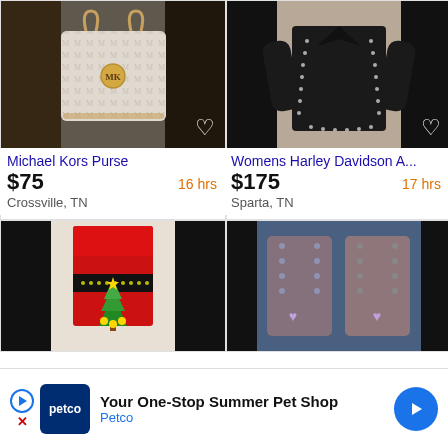[Figure (photo): Michael Kors purse - white/grey monogram pattern handbag with gold hardware]
Michael Kors Purse
$75
16 hrs
Crossville, TN
[Figure (photo): Womens Harley Davidson leather jacket - black with silver studs, shown from back]
Womens Harley Davidson A...
$175
17 hrs
Sparta, TN
[Figure (photo): Red Christmas sweater/dress with sequin belt and Christmas tree design]
[Figure (photo): Decorative boots with studded design, brown and blue tones]
[Figure (other): Petco advertisement banner: Your One-Stop Summer Pet Shop - Petco]